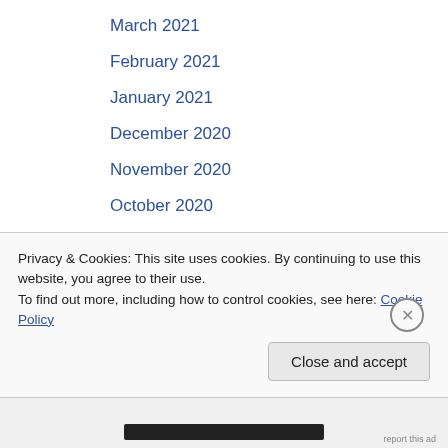March 2021
February 2021
January 2021
December 2020
November 2020
October 2020
September 2020
August 2020
July 2020
June 2020
May 2020
April 2020
Privacy & Cookies: This site uses cookies. By continuing to use this website, you agree to their use.
To find out more, including how to control cookies, see here: Cookie Policy
Close and accept